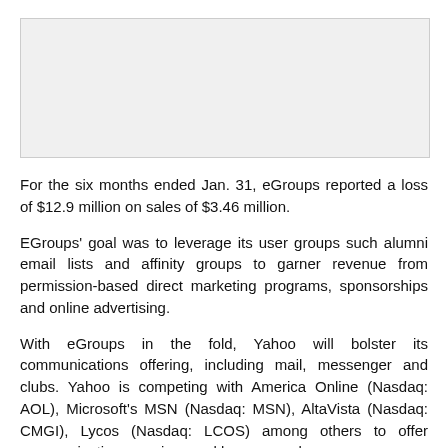[Figure (other): Image placeholder / graphic at top of page]
For the six months ended Jan. 31, eGroups reported a loss of $12.9 million on sales of $3.46 million.
EGroups' goal was to leverage its user groups such alumni email lists and affinity groups to garner revenue from permission-based direct marketing programs, sponsorships and online advertising.
With eGroups in the fold, Yahoo will bolster its communications offering, including mail, messenger and clubs. Yahoo is competing with America Online (Nasdaq: AOL), Microsoft's MSN (Nasdaq: MSN), AltaVista (Nasdaq: CMGI), Lycos (Nasdaq: LCOS) among others to offer communications services and keep users longer.